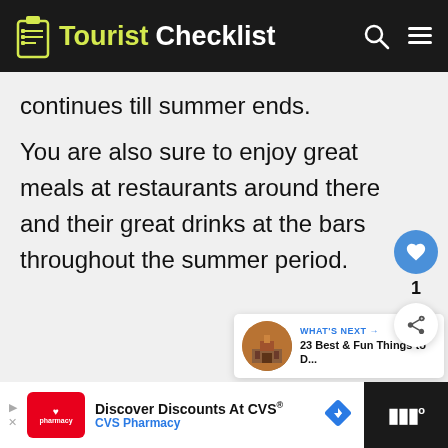Tourist Checklist
continues till summer ends.
You are also sure to enjoy great meals at restaurants around there and their great drinks at the bars throughout the summer period.
[Figure (infographic): Heart (like) button showing count of 1 and a share button, floating on the right side of the page]
[Figure (infographic): What's Next promo widget showing a circular image of a building and text: WHAT'S NEXT → 23 Best & Fun Things to D...]
[Figure (infographic): Advertisement bar: Discover Discounts At CVS® - CVS Pharmacy logo on left, navigation arrow icon, and dark panel on right with TV/streaming logo]